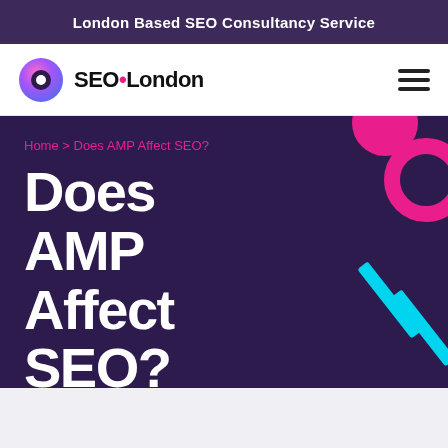London Based SEO Consultancy Service
[Figure (logo): SEO London logo with circular gradient icon and bold text 'SEO·London' with pink dot separator]
Home > Does AMP Affect SEO?
Does AMP Affect SEO?
Schedule a call